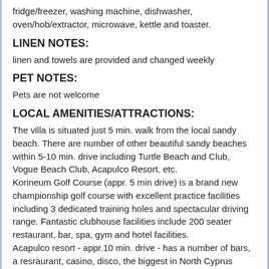fridge/freezer, washing machine, dishwasher, oven/hob/extractor, microwave, kettle and toaster.
LINEN NOTES:
linen and towels are provided and changed weekly
PET NOTES:
Pets are not welcome
LOCAL AMENITIES/ATTRACTIONS:
The villa is situated just 5 min. walk from the local sandy beach. There are number of other beautiful sandy beaches within 5-10 min. drive including Turtle Beach and Club, Vogue Beach Club, Acapulco Resort, etc.
Korineum Golf Course (appr. 5 min drive) is a brand new championship golf course with excellent practice facilities including 3 dedicated training holes and spectacular driving range. Fantastic clubhouse facilities include 200 seater restaurant, bar, spa, gym and hotel facilities.
Acapulco resort - appr.10 min. drive - has a number of bars, a resraurant, casino, disco, the biggest in North Cyprus swimming pool with kids area and water slopes, etc.
For those interesting in diving and horse riding there are a